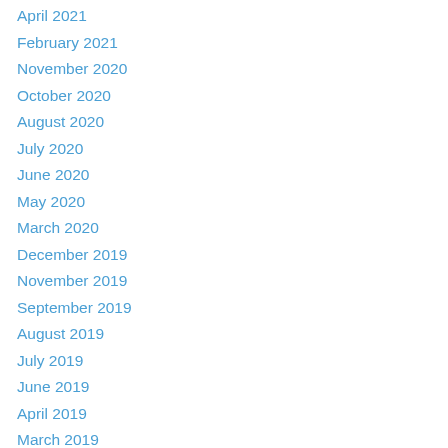April 2021
February 2021
November 2020
October 2020
August 2020
July 2020
June 2020
May 2020
March 2020
December 2019
November 2019
September 2019
August 2019
July 2019
June 2019
April 2019
March 2019
January 2019
December 2018
November 2018